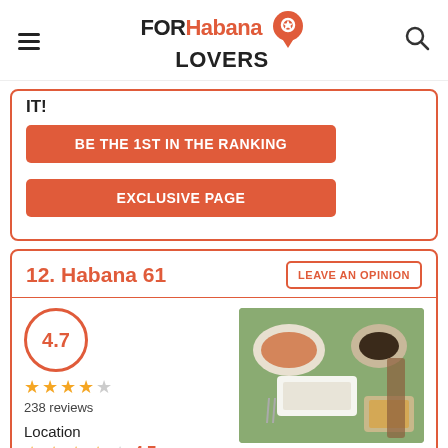FORHabana LOVERS
IT!
BE THE 1ST IN THE RANKING
EXCLUSIVE PAGE
12. Habana 61
LEAVE AN OPINION
4.7 — 238 reviews
Location 4.7